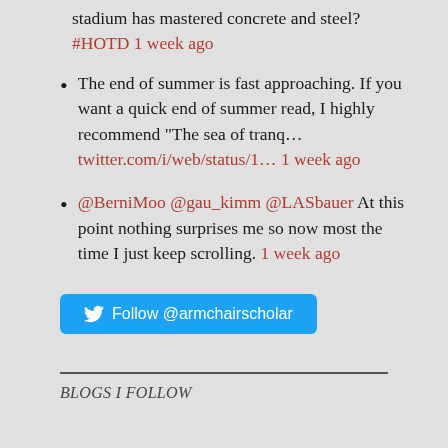stadium has mastered concrete and steel? #HOTD 1 week ago
The end of summer is fast approaching. If you want a quick end of summer read, I highly recommend “The sea of tranq… twitter.com/i/web/status/1… 1 week ago
@BerniMoo @gau_kimm @LASbauer At this point nothing surprises me so now most the time I just keep scrolling. 1 week ago
Follow @armchairscholar
BLOGS I FOLLOW